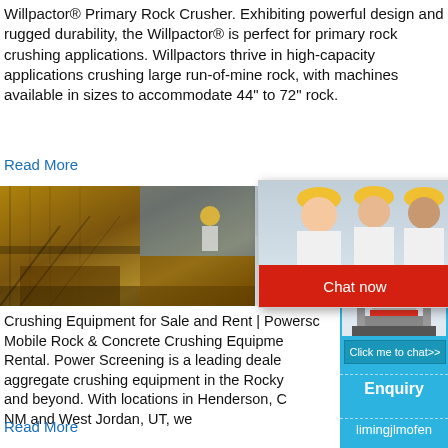Willpactor® Primary Rock Crusher. Exhibiting powerful design and rugged durability, the Willpactor® is perfect for primary rock crushing applications. Willpactors thrive in high-capacity applications crushing large run-of-mine rock, with machines available in sizes to accommodate 44" to 72" rock.
Read More
[Figure (photo): Yellow heavy machinery / rock crusher and workers wearing yellow hard hats with a live chat popup overlay showing 'LIVE CHAT - Click for a Free Consultation' with Chat now and Chat later buttons]
Crushing Equipment for Sale and Rent | Powersc... Mobile Rock & Concrete Crushing Equipme... Rental. Power Screening is a leading deale... aggregate crushing equipment in the Rocky... and beyond. With locations in Henderson, C... NM and West Jordan, UT, we
Read More